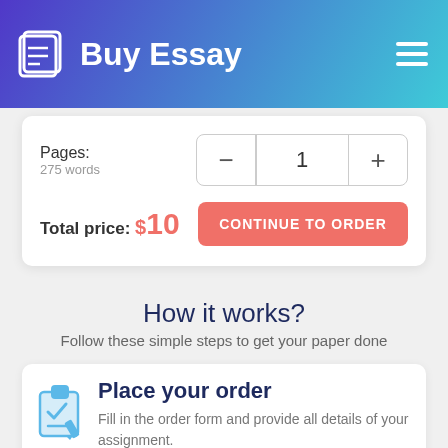Buy Essay
Pages:
275 words
1
Total price: $10
CONTINUE TO ORDER
How it works?
Follow these simple steps to get your paper done
Place your order
Fill in the order form and provide all details of your assignment.